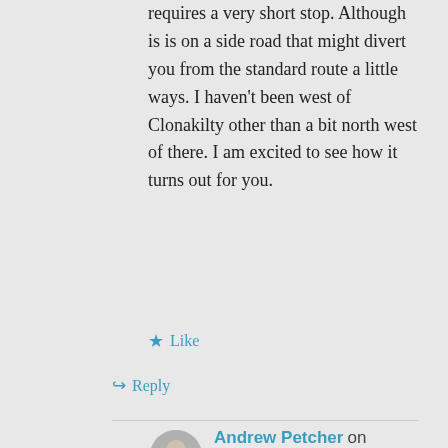requires a very short stop. Although is is on a side road that might divert you from the standard route a little ways. I haven't been west of Clonakilty other than a bit north west of there. I am excited to see how it turns out for you.
★ Like
↵ Reply
Andrew Petcher on January 4, 2016 at 8:26 am